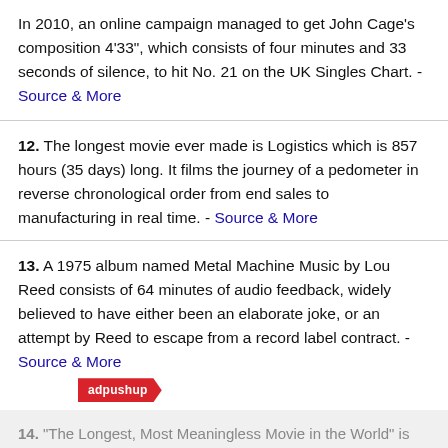In 2010, an online campaign managed to get John Cage's composition 4'33", which consists of four minutes and 33 seconds of silence, to hit No. 21 on the UK Singles Chart. - Source & More
12. The longest movie ever made is Logistics which is 857 hours (35 days) long. It films the journey of a pedometer in reverse chronological order from end sales to manufacturing in real time. - Source & More
13. A 1975 album named Metal Machine Music by Lou Reed consists of 64 minutes of audio feedback, widely believed to have either been an elaborate joke, or an attempt by Reed to escape from a record label contract. - Source & More
[Figure (logo): adpushup logo on red banner with arrow shape]
14. "The Longest, Most Meaningless Movie in the World" is